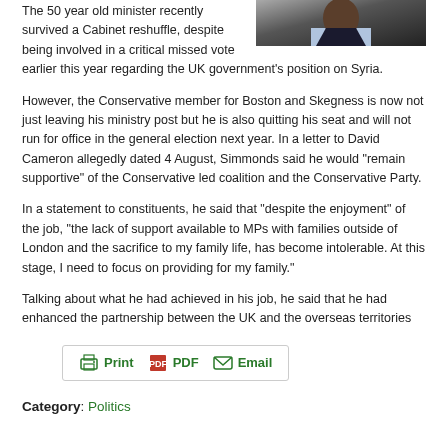[Figure (photo): Photo of a man in a suit with a red tie, dark background, cropped to head and upper torso]
The 50 year old minister recently survived a Cabinet reshuffle, despite being involved in a critical missed vote earlier this year regarding the UK government's position on Syria.
However, the Conservative member for Boston and Skegness is now not just leaving his ministry post but he is also quitting his seat and will not run for office in the general election next year. In a letter to David Cameron allegedly dated 4 August, Simmonds said he would "remain supportive" of the Conservative led coalition and the Conservative Party.
In a statement to constituents, he said that "despite the enjoyment" of the job, "the lack of support available to MPs with families outside of London and the sacrifice to my family life, has become intolerable. At this stage, I need to focus on providing for my family."
Talking about what he had achieved in his job, he said that he had enhanced the partnership between the UK and the overseas territories
[Figure (infographic): Print/PDF/Email share bar with green icons and labels]
Category: Politics